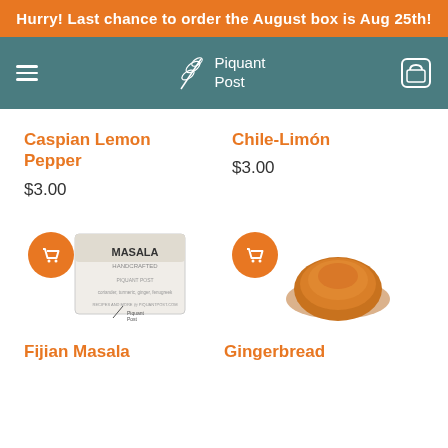Hurry! Last chance to order the August box is Aug 25th!
[Figure (logo): Piquant Post logo with feather/wheat icon on teal navigation bar]
Caspian Lemon Pepper
$3.00
Chile-Limón
$3.00
[Figure (photo): Fijian Masala spice packet with orange add-to-cart button overlay]
[Figure (photo): Gingerbread spice mound with orange add-to-cart button overlay]
Fijian Masala
Gingerbread